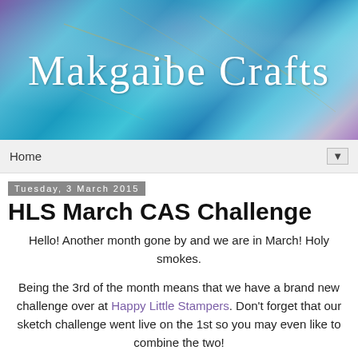[Figure (illustration): Blog header banner with colorful blue/teal/purple abstract background and cursive white text reading 'Makgaibe Crafts']
Home ▼
Tuesday, 3 March 2015
HLS March CAS Challenge
Hello! Another month gone by and we are in March! Holy smokes.
Being the 3rd of the month means that we have a brand new challenge over at Happy Little Stampers. Don't forget that our sketch challenge went live on the 1st so you may even like to combine the two!
Here is the one for this month...